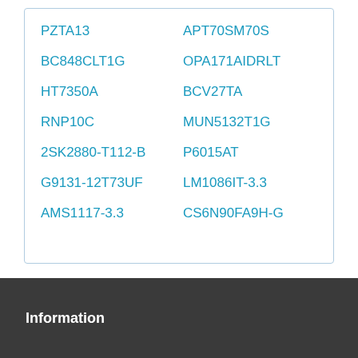PZTA13
APT70SM70S
BC848CLT1G
OPA171AIDRLT
HT7350A
BCV27TA
RNP10C
MUN5132T1G
2SK2880-T112-B
P6015AT
G9131-12T73UF
LM1086IT-3.3
AMS1117-3.3
CS6N90FA9H-G
Information